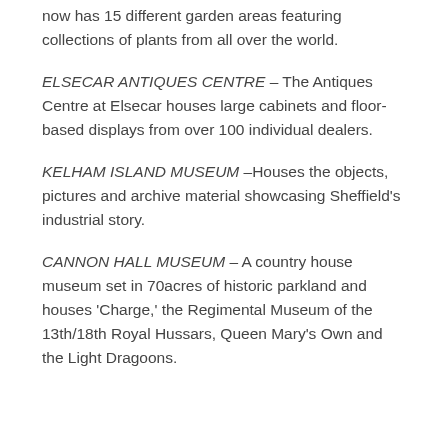now has 15 different garden areas featuring collections of plants from all over the world.
ELSECAR ANTIQUES CENTRE – The Antiques Centre at Elsecar houses large cabinets and floor-based displays from over 100 individual dealers.
KELHAM ISLAND MUSEUM –Houses the objects, pictures and archive material showcasing Sheffield's industrial story.
CANNON HALL MUSEUM – A country house museum set in 70acres of historic parkland and houses 'Charge,' the Regimental Museum of the 13th/18th Royal Hussars, Queen Mary's Own and the Light Dragoons.